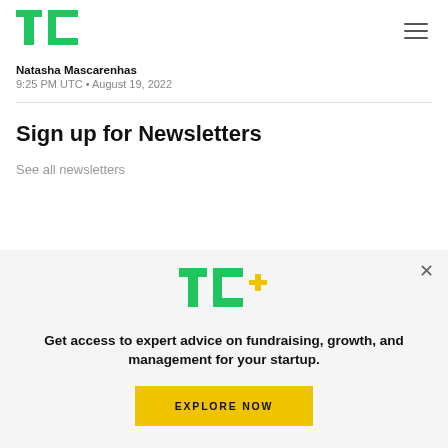TechCrunch header with logo and navigation
Natasha Mascarenhas
9:25 PM UTC • August 19, 2022
Sign up for Newsletters
See all newsletters
[Figure (infographic): TC+ promotional modal with logo, tagline 'Get access to expert advice on fundraising, growth, and management for your startup.' and EXPLORE NOW button]